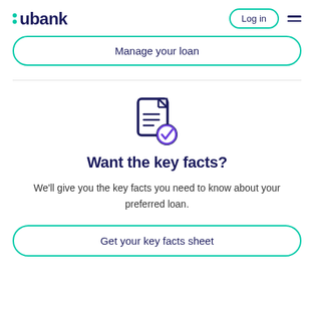ubank — Log in — menu
Manage your loan
[Figure (illustration): Document with checkmark icon — a stylized document page with text lines and a purple/violet checkmark badge in the lower right corner, dark navy outline style]
Want the key facts?
We'll give you the key facts you need to know about your preferred loan.
Get your key facts sheet